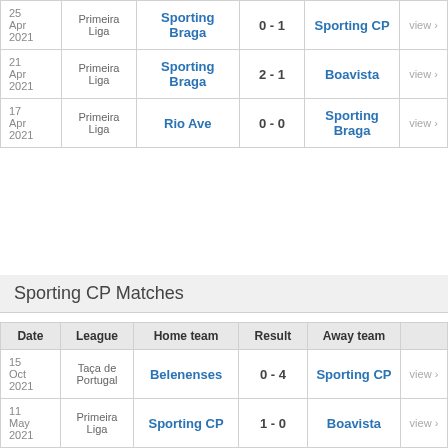| Date | League | Home team | Result | Away team |  |
| --- | --- | --- | --- | --- | --- |
| 25 Apr 2021 | Primeira Liga | Sporting Braga | 0 - 1 | Sporting CP | view › |
| 21 Apr 2021 | Primeira Liga | Sporting Braga | 2 - 1 | Boavista | view › |
| 17 Apr 2021 | Primeira Liga | Rio Ave | 0 - 0 | Sporting Braga | view › |
Sporting CP Matches
| Date | League | Home team | Result | Away team |  |
| --- | --- | --- | --- | --- | --- |
| 15 Oct 2021 | Taça de Portugal | Belenenses | 0 - 4 | Sporting CP | view › |
| 11 May 2021 | Primeira Liga | Sporting CP | 1 - 0 | Boavista | view › |